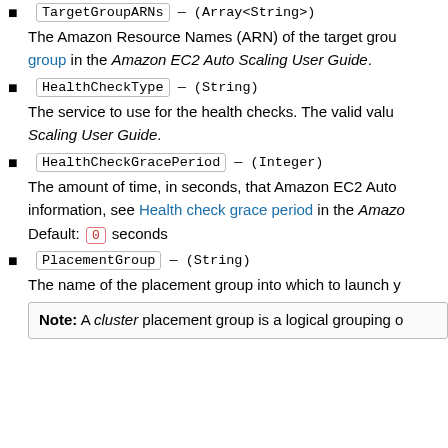TargetGroupARNs — (Array<String>)
The Amazon Resource Names (ARN) of the target group. group in the Amazon EC2 Auto Scaling User Guide.
HealthCheckType — (String)
The service to use for the health checks. The valid value Scaling User Guide.
HealthCheckGracePeriod — (Integer)
The amount of time, in seconds, that Amazon EC2 Auto information, see Health check grace period in the Amazo
Default: 0 seconds
PlacementGroup — (String)
The name of the placement group into which to launch y
Note: A cluster placement group is a logical grouping o